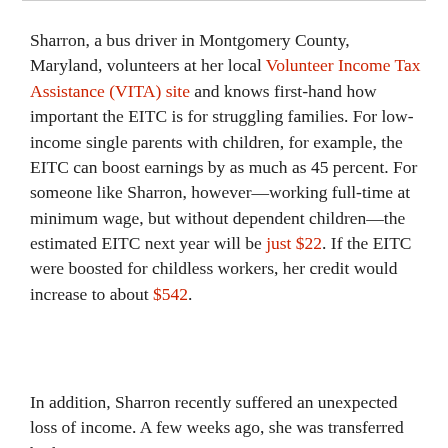Sharron, a bus driver in Montgomery County, Maryland, volunteers at her local Volunteer Income Tax Assistance (VITA) site and knows first-hand how important the EITC is for struggling families. For low-income single parents with children, for example, the EITC can boost earnings by as much as 45 percent. For someone like Sharron, however—working full-time at minimum wage, but without dependent children—the estimated EITC next year will be just $22. If the EITC were boosted for childless workers, her credit would increase to about $542.
In addition, Sharron recently suffered an unexpected loss of income. A few weeks ago, she was transferred by her